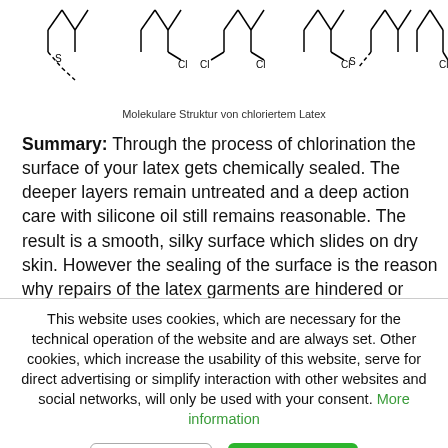[Figure (illustration): Chemical structure diagrams showing molecular structure of chlorinated latex, with multiple molecular chain units including S and Cl atoms shown as structural formulas.]
Molekulare Struktur von chloriertem Latex
Summary: Through the process of chlorination the surface of your latex gets chemically sealed. The deeper layers remain untreated and a deep action care with silicone oil still remains reasonable. The result is a smooth, silky surface which slides on dry skin. However the sealing of the surface is the reason why repairs of the latex garments are hindered or impossible - the latex glue can't bond with the new surface and build up a permanent bonding - any bondings will become detached very quickly. Due to the new surface
This website uses cookies, which are necessary for the technical operation of the website and are always set. Other cookies, which increase the usability of this website, serve for direct advertising or simplify interaction with other websites and social networks, will only be used with your consent. More information
Decline  Accept